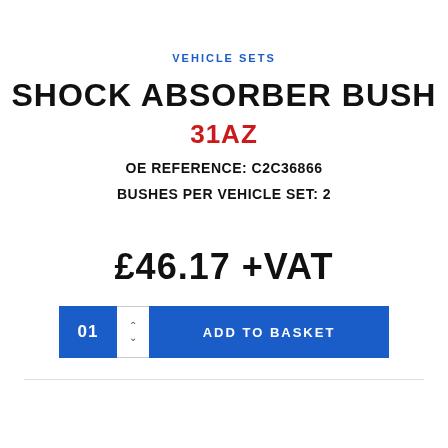VEHICLE SETS
SHOCK ABSORBER BUSH
31AZ
OE REFERENCE: C2C36866
BUSHES PER VEHICLE SET: 2
£46.17 +VAT
01  ADD TO BASKET